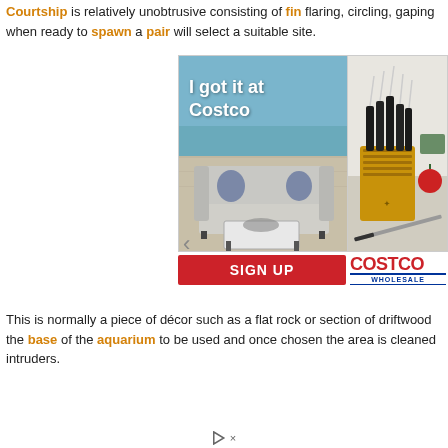Courtship is relatively unobtrusive consisting of fin flaring, circling, gaping when ready to spawn a pair will select a suitable site.
[Figure (photo): Advertisement showing outdoor patio furniture with text 'I got it at Costco', and a knife block set on the right. Below is a red SIGN UP button and the Costco Wholesale logo.]
This is normally a piece of décor such as a flat rock or section of driftwood the base of the aquarium to be used and once chosen the area is cleaned intruders.